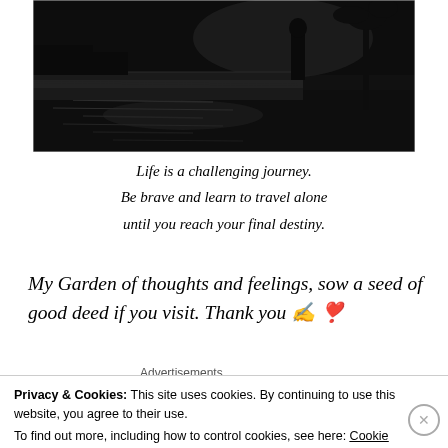[Figure (photo): A dark, moody black-and-white photograph of a person standing near a body of water (possibly a pier or waterfront), with reflections on the water surface. The scene is dramatically lit with a dark sky and silhouette.]
Life is a challenging journey.
Be brave and learn to travel alone
until you reach your final destiny.
My Garden of thoughts and feelings, sow a seed of good deed if you visit. Thank you ✍️❣️
Privacy & Cookies: This site uses cookies. By continuing to use this website, you agree to their use.
To find out more, including how to control cookies, see here: Cookie Policy